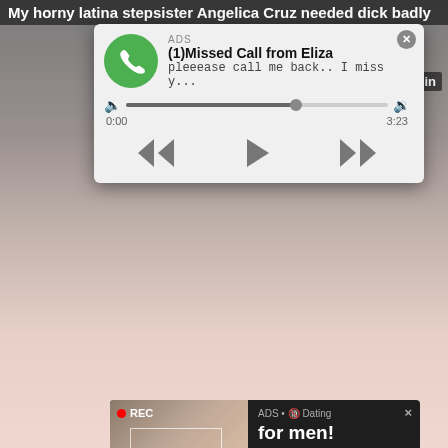My horny latina stepsister Angelica Cruz needed dick badly
[Figure (screenshot): Audio ad popup with green phone icon, showing missed call notification from Eliza with audio scrubber, timestamps 0:00 and 3:23, playback controls, and 8 min duration label]
[Figure (screenshot): Dating ad popup with dark background, showing a selfie of a woman with REC badge, and text: ADS • Dating for men! Find bad girls here]
[Figure (photo): Background adult content video page with partial thumbnails, My Ste... label, line... label, 10 min duration, and COM text visible]